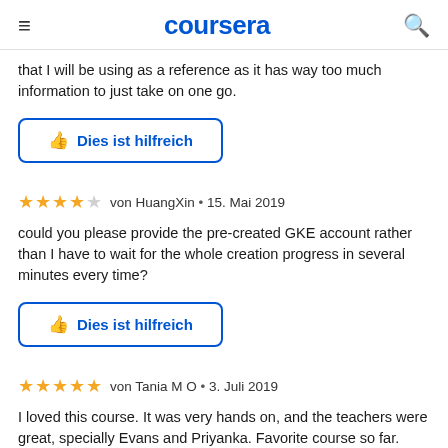coursera
that I will be using as a reference as it has way too much information to just take on one go.
Dies ist hilfreich
★★★★☆ von HuangXin • 15. Mai 2019
could you please provide the pre-created GKE account rather than I have to wait for the whole creation progress in several minutes every time?
Dies ist hilfreich
★★★★★ von Tania M O • 3. Juli 2019
I loved this course. It was very hands on, and the teachers were great, specially Evans and Priyanka. Favorite course so far.